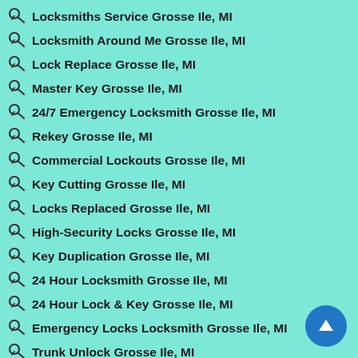Locksmiths Service Grosse Ile, MI
Locksmith Around Me Grosse Ile, MI
Lock Replace Grosse Ile, MI
Master Key Grosse Ile, MI
24/7 Emergency Locksmith Grosse Ile, MI
Rekey Grosse Ile, MI
Commercial Lockouts Grosse Ile, MI
Key Cutting Grosse Ile, MI
Locks Replaced Grosse Ile, MI
High-Security Locks Grosse Ile, MI
Key Duplication Grosse Ile, MI
24 Hour Locksmith Grosse Ile, MI
24 Hour Lock & Key Grosse Ile, MI
Emergency Locks Locksmith Grosse Ile, MI
Trunk Unlock Grosse Ile, MI